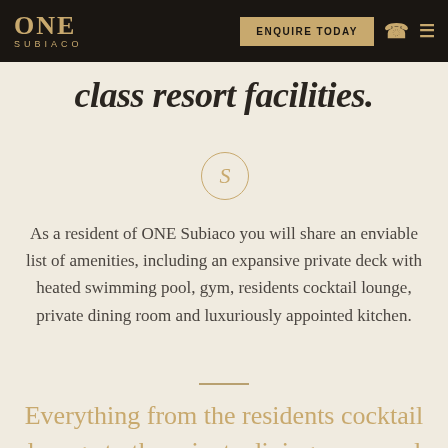ONE SUBIACO — ENQUIRE TODAY
class resort facilities.
[Figure (illustration): Circular emblem with stylized S letter in gold outline on cream background]
As a resident of ONE Subiaco you will share an enviable list of amenities, including an expansive private deck with heated swimming pool, gym, residents cocktail lounge, private dining room and luxuriously appointed kitchen.
Everything from the residents cocktail lounge to the private dining room and luxuriously